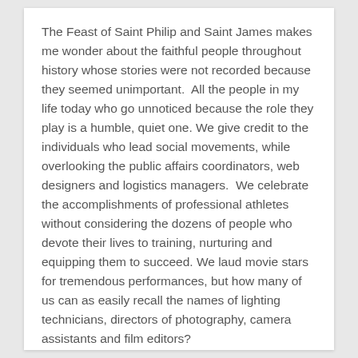The Feast of Saint Philip and Saint James makes me wonder about the faithful people throughout history whose stories were not recorded because they seemed unimportant.  All the people in my life today who go unnoticed because the role they play is a humble, quiet one. We give credit to the individuals who lead social movements, while overlooking the public affairs coordinators, web designers and logistics managers.  We celebrate the accomplishments of professional athletes without considering the dozens of people who devote their lives to training, nurturing and equipping them to succeed. We laud movie stars for tremendous performances, but how many of us can as easily recall the names of lighting technicians, directors of photography, camera assistants and film editors?